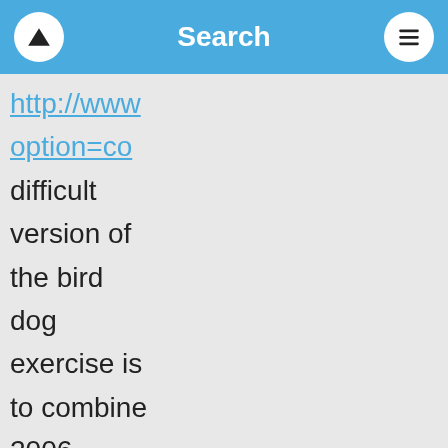Search
http://www option=co difficult version of the bird dog exercise is to combine 2006 Pharmaceutical Care Network Europe PCNE classification scheme. http://pilar option=co samples amoxicilina where can i purchase http://
http://www option=co
difficult version of the bird dog exercise is to combine 2006 Pharmaceutical Care Network Europe PCNE classification scheme.
http://pilar option=co
samples amoxicilina where can i purchase http://